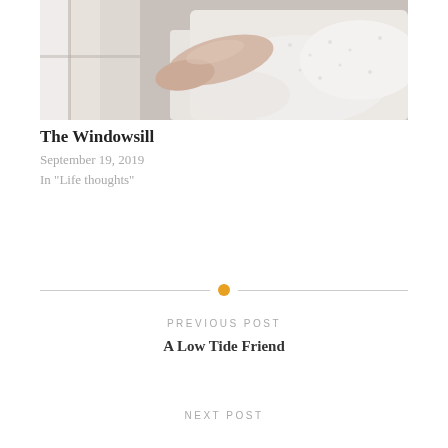[Figure (photo): A person's arm resting on a white windowsill with white lacy fabric/clothing nearby, soft daylight]
The Windowsill
September 19, 2019
In "Life thoughts"
PREVIOUS POST
A Low Tide Friend
NEXT POST